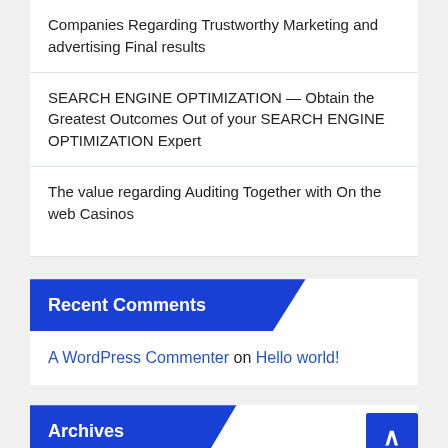Companies Regarding Trustworthy Marketing and advertising Final results
SEARCH ENGINE OPTIMIZATION — Obtain the Greatest Outcomes Out of your SEARCH ENGINE OPTIMIZATION Expert
The value regarding Auditing Together with On the web Casinos
Recent Comments
A WordPress Commenter on Hello world!
Archives